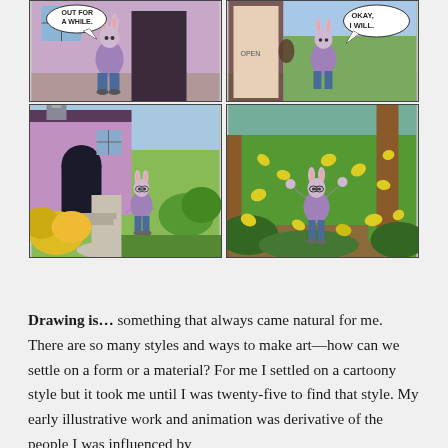[Figure (illustration): A 2x2 comic strip grid showing an anthropomorphic rabbit character. Top row: two panels showing the rabbit figure indoors with speech bubbles reading 'OUT FOR A WHILE.' and 'OKAY, I WILL.' Bottom row: two panels showing the rabbit character outdoors near a purple house with yellow bushes, then in a forest/park celebrating with arms raised among yellow leaves.]
Drawing is… something that always came natural for me. There are so many styles and ways to make art—how can we settle on a form or a material? For me I settled on a cartoony style but it took me until I was twenty-five to find that style. My early illustrative work and animation was derivative of the people I was influenced by